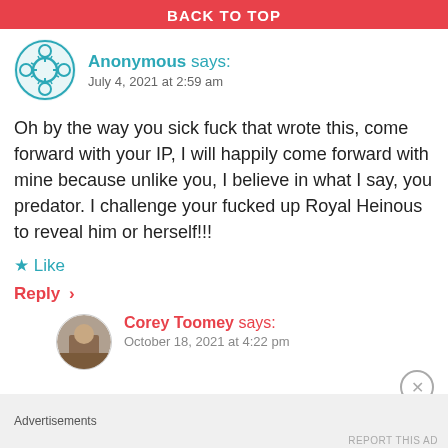BACK TO TOP
Anonymous says:
July 4, 2021 at 2:59 am
Oh by the way you sick fuck that wrote this, come forward with your IP, I will happily come forward with mine because unlike you, I believe in what I say, you predator. I challenge your fucked up Royal Heinous to reveal him or herself!!!
★ Like
Reply ›
Corey Toomey says:
October 18, 2021 at 4:22 pm
Advertisements